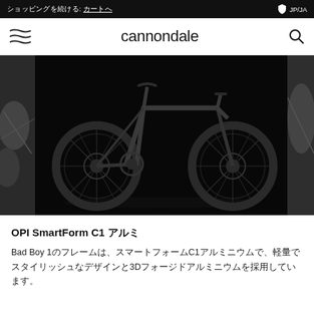ショッピングを続ける: カートへ   JP/JA
[Figure (logo): Cannondale website navigation bar with wavy hamburger menu icon on left, 'cannondale' wordmark in center, search icon on right]
[Figure (photo): Dark studio photograph of a Cannondale Bad Boy 1 urban bicycle against a black background, showing full side profile of the bike with disc brakes and slim tires]
OPI SmartForm C1 アルミ
Bad Boy 1のフレームは、スマートフォームC1アルミニウムで、軽量でスタイリッシュなデザインと3Dフォージドアルミニウムを採用しています。